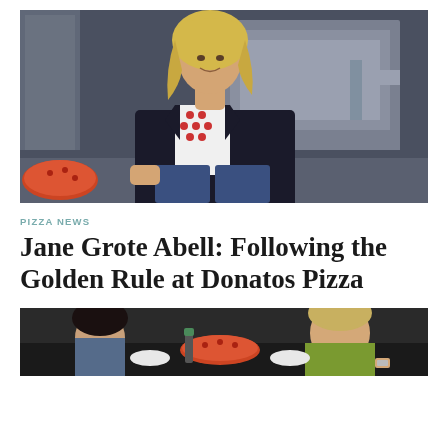[Figure (photo): Woman with blonde hair smiling, wearing a black blazer over a white top with red pattern, standing in a commercial kitchen with stainless steel equipment]
PIZZA NEWS
Jane Grote Abell: Following the Golden Rule at Donatos Pizza
[Figure (photo): People eating pizza at a table, partial view showing two people]